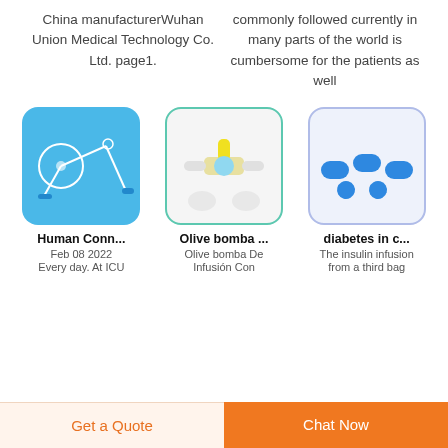China manufacturerWuhan Union Medical Technology Co. Ltd. page1.
commonly followed currently in many parts of the world is cumbersome for the patients as well
[Figure (photo): Medical IV infusion set with tubing and needle on blue background]
[Figure (photo): Olive bomba De Infusión Con - yellow and blue medical connector/stopcock on white background]
[Figure (photo): Blue medical connector caps/tips for diabetes infusion on light background]
Human Conn...
Feb 08 2022
Every day. At ICU
Olive bomba ...
Olive bomba De Infusión Con
diabetes in c...
The insulin infusion from a third bag
Get a Quote
Chat Now